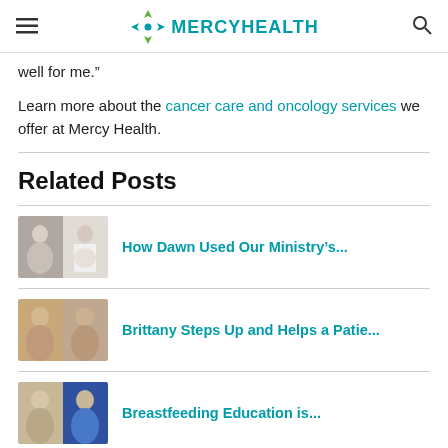MERCYHEALTH
well for me.”
Learn more about the cancer care and oncology services we offer at Mercy Health.
Related Posts
[Figure (photo): Thumbnail image of two people side by side, link to 'How Dawn Used Our Ministry’s...']
How Dawn Used Our Ministry’s...
[Figure (photo): Thumbnail image of a woman, link to 'Brittany Steps Up and Helps a Patie...']
Brittany Steps Up and Helps a Patie...
[Figure (photo): Thumbnail image of a woman, link to 'Breastfeeding Education is...']
Breastfeeding Education is...